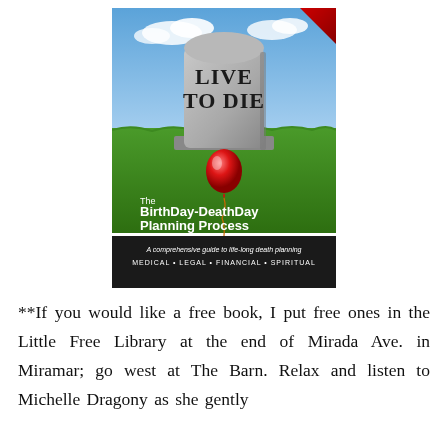[Figure (illustration): Book cover for 'Live to Die: The BirthDay-DeathDay Planning Process'. Shows a gravestone with 'LIVE TO DIE' text, a red balloon tied to the gravestone on a grassy field with blue sky. Subtitle text reads 'The BirthDay-DeathDay Planning Process' and 'A comprehensive guide to life-long death planning MEDICAL • LEGAL • FINANCIAL • SPIRITUAL'.]
**If you would like a free book, I put free ones in the Little Free Library at the end of Mirada Ave. in Miramar; go west at The Barn. Relax and listen to Michelle Dragony as she gently